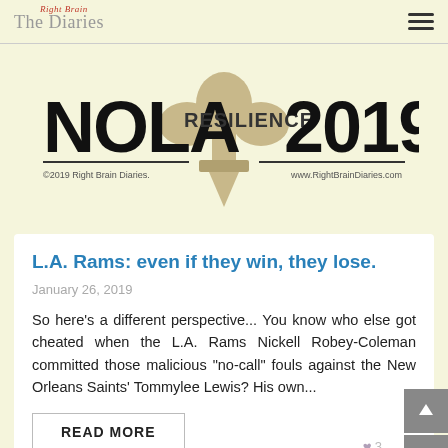The Right Brain Diaries
[Figure (logo): NOLA Resilience 2019 banner graphic with fleur-de-lis, copyright 2019 Right Brain Diaries, www.RightBrainDiaries.com]
L.A. Rams: even if they win, they lose.
January 26, 2019
So here's a different perspective... You know who else got cheated when the L.A. Rams Nickell Robey-Coleman committed those malicious "no-call" fouls against the New Orleans Saints' Tommylee Lewis? His own...
READ MORE